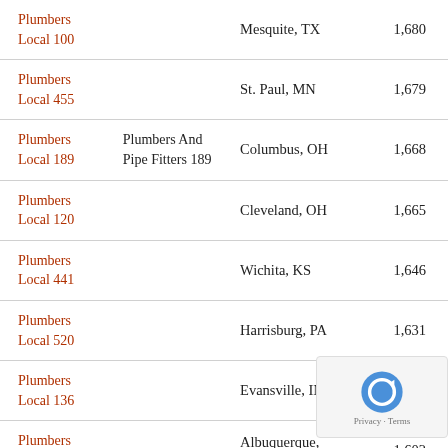| Union Name | Also Known As | City | Members |
| --- | --- | --- | --- |
| Plumbers Local 100 |  | Mesquite, TX | 1,680 |
| Plumbers Local 455 |  | St. Paul, MN | 1,679 |
| Plumbers Local 189 | Plumbers And Pipe Fitters 189 | Columbus, OH | 1,668 |
| Plumbers Local 120 |  | Cleveland, OH | 1,665 |
| Plumbers Local 441 |  | Wichita, KS | 1,646 |
| Plumbers Local 520 |  | Harrisburg, PA | 1,631 |
| Plumbers Local 136 |  | Evansville, IN | 1,603 |
| Plumbers Local 412 |  | Albuquerque, NM | 1,602 |